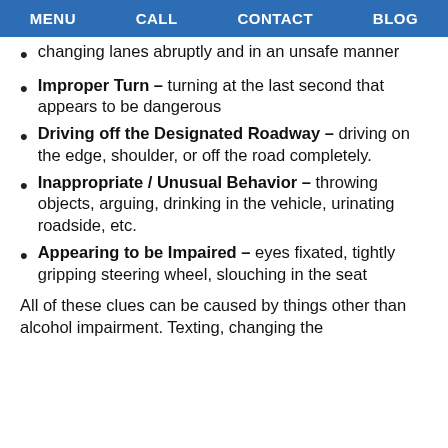MENU   CALL   CONTACT   BLOG
changing lanes abruptly and in an unsafe manner
Improper Turn – turning at the last second that appears to be dangerous
Driving off the Designated Roadway – driving on the edge, shoulder, or off the road completely.
Inappropriate / Unusual Behavior – throwing objects, arguing, drinking in the vehicle, urinating roadside, etc.
Appearing to be Impaired – eyes fixated, tightly gripping steering wheel, slouching in the seat
All of these clues can be caused by things other than alcohol impairment. Texting, changing the